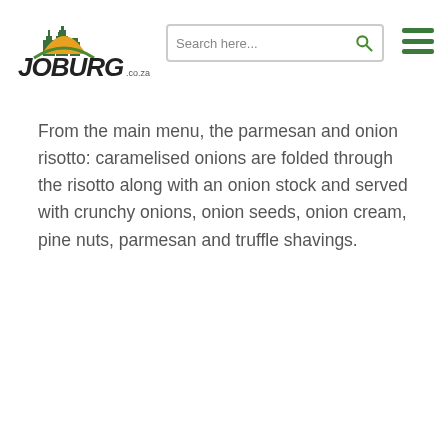Joburg.co.za — Search here...
From the main menu, the parmesan and onion risotto: caramelised onions are folded through the risotto along with an onion stock and served with crunchy onions, onion seeds, onion cream, pine nuts, parmesan and truffle shavings.